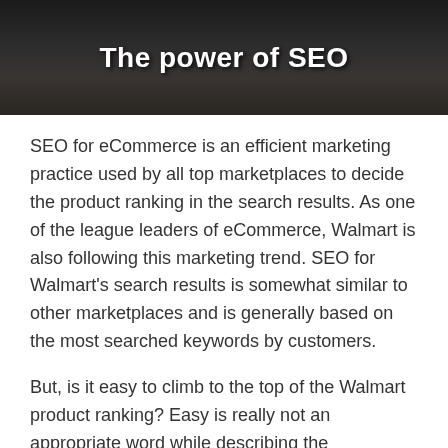[Figure (photo): Dark background hero image with white bold text reading 'The power of SEO' centered on a dark wooden surface]
SEO for eCommerce is an efficient marketing practice used by all top marketplaces to decide the product ranking in the search results. As one of the league leaders of eCommerce, Walmart is also following this marketing trend. SEO for Walmart's search results is somewhat similar to other marketplaces and is generally based on the most searched keywords by customers.
But, is it easy to climb to the top of the Walmart product ranking? Easy is really not an appropriate word while describing the competition to rank on